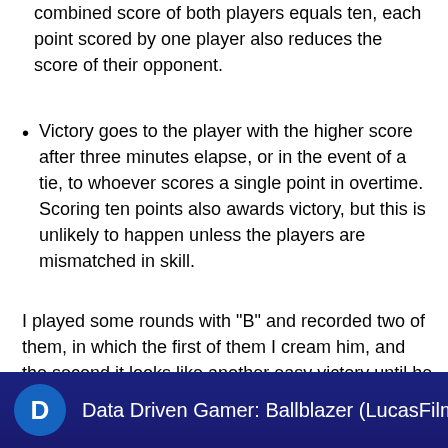combined score of both players equals ten, each point scored by one player also reduces the score of their opponent.
Victory goes to the player with the higher score after three minutes elapse, or in the event of a tie, to whoever scores a single point in overtime. Scoring ten points also awards victory, but this is unlikely to happen unless the players are mismatched in skill.
I played some rounds with "B" and recorded two of them, in which the first of them I cream him, and the second it looks like another easy victory until he turns around and pulls ahead at the last minute.
[Figure (screenshot): Video thumbnail bar showing a circular avatar with letter D and text 'Data Driven Gamer: Ballblazer (LucasFilm, 1984' on a dark navy blue background.]